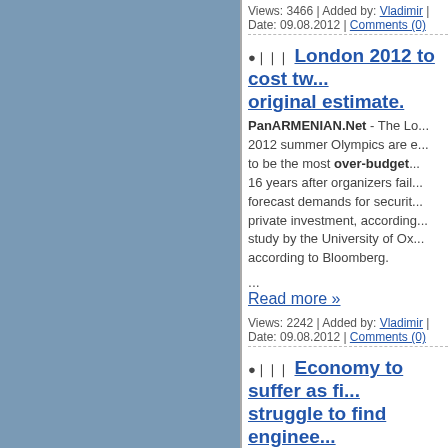Views: 3466 | Added by: Vladimir | Date: 09.08.2012 | Comments (0)
London 2012 to cost tw... original estimate.
PanARMENIAN.Net - The Lo... 2012 summer Olympics are e... to be the most over-budget... 16 years after organizers fail... forecast demands for securit... private investment, according... study by the University of Ox... according to Bloomberg.
... Read more »
Views: 2242 | Added by: Vladimir | Date: 09.08.2012 | Comments (0)
Economy to suffer as fi... struggle to find enginee...
6 August 2012
If the UK is to remain able to build world-... like the Olympic Park, or equivalent inter... projects, more engineers and technicians... needed. New research shows that this year more... finding it difficult to recruit engineers than... ...